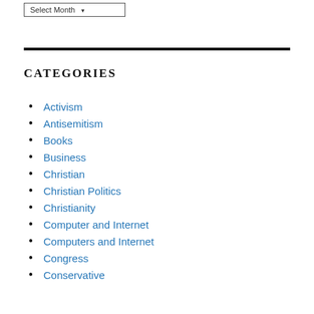Select Month
CATEGORIES
Activism
Antisemitism
Books
Business
Christian
Christian Politics
Christianity
Computer and Internet
Computers and Internet
Congress
Conservative